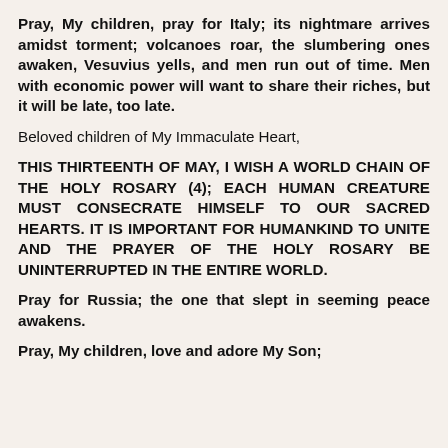Pray, My children, pray for Italy; its nightmare arrives amidst torment; volcanoes roar, the slumbering ones awaken, Vesuvius yells, and men run out of time. Men with economic power will want to share their riches, but it will be late, too late.
Beloved children of My Immaculate Heart,
THIS THIRTEENTH OF MAY, I WISH A WORLD CHAIN OF THE HOLY ROSARY (4); EACH HUMAN CREATURE MUST CONSECRATE HIMSELF TO OUR SACRED HEARTS. IT IS IMPORTANT FOR HUMANKIND TO UNITE AND THE PRAYER OF THE HOLY ROSARY BE UNINTERRUPTED IN THE ENTIRE WORLD.
Pray for Russia; the one that slept in seeming peace awakens.
Pray, My children, love and adore My Son;